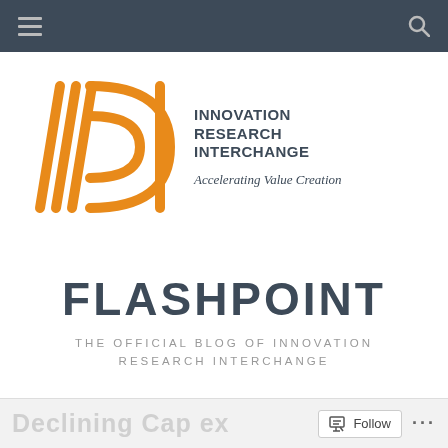Navigation bar with hamburger menu and search icon
[Figure (logo): IRI logo — orange diagonal stripe marks forming stylized letters IRI, with text INNOVATION RESEARCH INTERCHANGE and tagline Accelerating Value Creation]
FLASHPOINT
THE OFFICIAL BLOG OF INNOVATION RESEARCH INTERCHANGE
Follow button and options dots in bottom bar